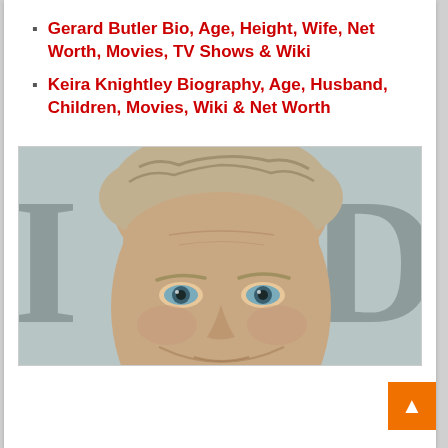Gerard Butler Bio, Age, Height, Wife, Net Worth, Movies, TV Shows & Wiki
Keira Knightley Biography, Age, Husband, Children, Movies, Wiki & Net Worth
[Figure (photo): Close-up photo of a middle-aged man with short blonde-grey hair and blue eyes, with large serif letters partially visible in the background]